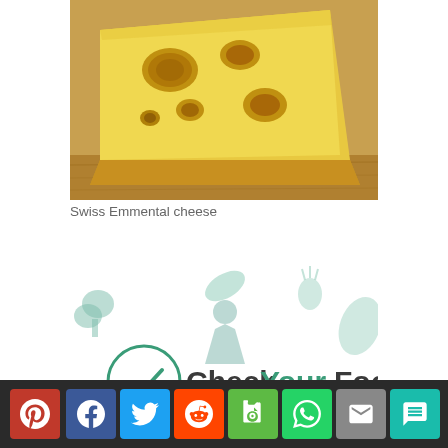[Figure (photo): Swiss Emmental cheese block with holes on a wooden surface]
Swiss Emmental cheese
[Figure (logo): CheckYourFood logo on decorative food icons background (vegetables, herbs)]
Sardines in tomato sauce with a green salad
[Figure (photo): Partially visible food item at bottom (pasta or similar golden food)]
Social share buttons: Pinterest, Facebook, Twitter, Reddit, Evernote, WhatsApp, Email, SMS